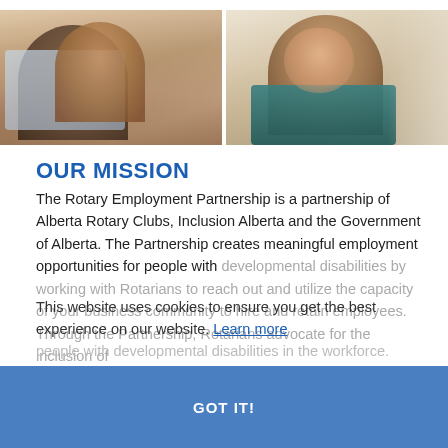[Figure (photo): Two people in conversation — a man viewed from behind and a woman smiling, in an indoor setting]
OUR MISSION
The Rotary Employment Partnership is a partnership of Alberta Rotary Clubs, Inclusion Alberta and the Government of Alberta. The Partnership creates meaningful employment opportunities for people with developmental disabilities by working with Rotarians to reach out and utilize the capacity of your business community to hire and retain employees. Through the Partnership, Rotarians advocate for the inclusion of people with developmental disabilities in the workforce. Rotarians and Rotary Clubs make excellent partners given their long-term commitment to improving community life.
This website uses cookies to ensure you get the best experience on our website. Learn more
GOT IT!